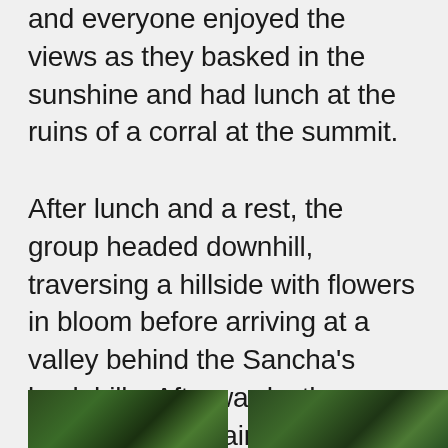and everyone enjoyed the views as they basked in the sunshine and had lunch at the ruins of a corral at the summit.
After lunch and a rest, the group headed downhill, traversing a hillside with flowers in bloom before arriving at a valley behind the Sancha's back hills. Afterwards, the group started uphill again toward the second high point of the day. From there, we were able to see the route along the valley that they'd follow on the way back to the village.
[Figure (photo): Partial view of a green landscape photo, bottom-left of page]
[Figure (photo): Partial view of a green landscape photo, bottom-right of page]